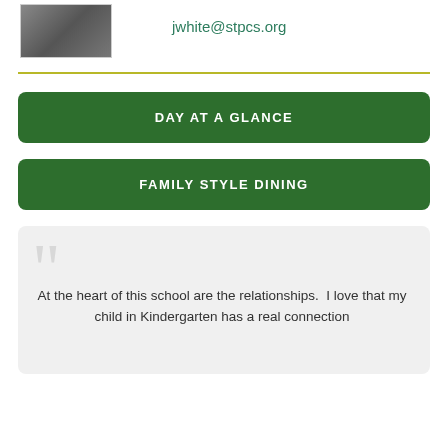[Figure (photo): Portrait photo of a person]
jwhite@stpcs.org
DAY AT A GLANCE
FAMILY STYLE DINING
At the heart of this school are the relationships.  I love that my child in Kindergarten has a real connection